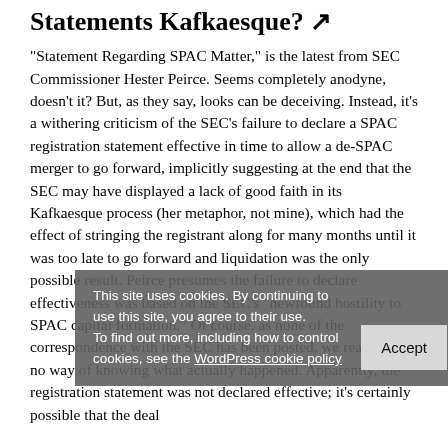Statements Kafkaesque? ↗
“Statement Regarding SPAC Matter,” is the latest from SEC Commissioner Hester Peirce.  Seems completely anodyne, doesn’t it? But, as they say, looks can be deceiving. Instead, it’s a withering criticism of the SEC’s failure to declare a SPAC registration statement effective in time to allow a de-SPAC merger to go forward, implicitly suggesting at the end that the SEC may have displayed a lack of good faith in its Kafkaesque process (her metaphor, not mine), which had the effect of stringing the registrant along for many months until it was too late to go forward and liquidation was the only possible result.  Peirce presumes the failure to declare effectiveness was based on the SEC’s “newfound hostility to SPAC capital formation.”  Of course, as none of the correspondence with the SEC has been posted, we really have no way of knowing what actually happened. Apparently, the registration statement was not declared effective; it’s certainly possible that the deal
This site uses cookies. By continuing to use this site, you agree to their use.
To find out more, including how to control cookies, see the WordPress cookie policy
Accept